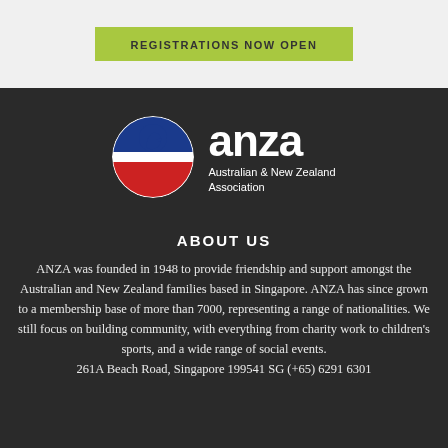[Figure (other): Green button with text REGISTRATIONS NOW OPEN on light grey background]
[Figure (logo): ANZA logo: circular badge with kangaroo and 'anza' text in blue/red/white, next to large 'anza' wordmark and subtitle 'Australian & New Zealand Association' on dark background]
ABOUT US
ANZA was founded in 1948 to provide friendship and support amongst the Australian and New Zealand families based in Singapore. ANZA has since grown to a membership base of more than 7000, representing a range of nationalities. We still focus on building community, with everything from charity work to children's sports, and a wide range of social events. 261A Beach Road, Singapore 199541 SG (+65) 6291 6301